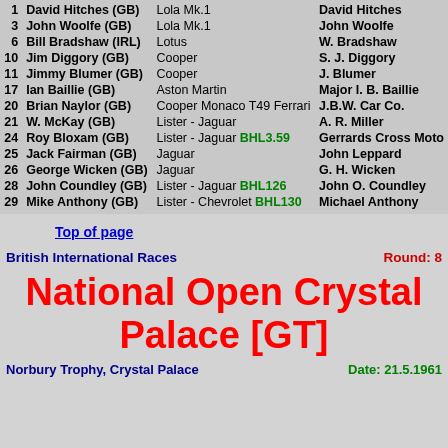| # | Driver | Car | Entrant |
| --- | --- | --- | --- |
| 1 | David Hitches (GB) | Lola Mk.1 | David Hitches |
| 3 | John Woolfe (GB) | Lola Mk.1 | John Woolfe |
| 6 | Bill Bradshaw (IRL) | Lotus | W. Bradshaw |
| 10 | Jim Diggory (GB) | Cooper | S. J. Diggory |
| 11 | Jimmy Blumer (GB) | Cooper | J. Blumer |
| 17 | Ian Baillie (GB) | Aston Martin | Major I. B. Baillie |
| 20 | Brian Naylor (GB) | Cooper Monaco T49 Ferrari | J.B.W. Car Co. |
| 21 | W. McKay (GB) | Lister - Jaguar | A. R. Miller |
| 24 | Roy Bloxam (GB) | Lister - Jaguar BHL3.59 | Gerrards Cross Moto |
| 25 | Jack Fairman (GB) | Jaguar | John Leppard |
| 26 | George Wicken (GB) | Jaguar | G. H. Wicken |
| 28 | John Coundley (GB) | Lister - Jaguar BHL126 | John O. Coundley |
| 29 | Mike Anthony (GB) | Lister - Chevrolet BHL130 | Michael Anthony |
Top of page
British International Races    Round: 8
National Open Crystal Palace [GT]
Norbury Trophy, Crystal Palace    Date: 21.5.1961